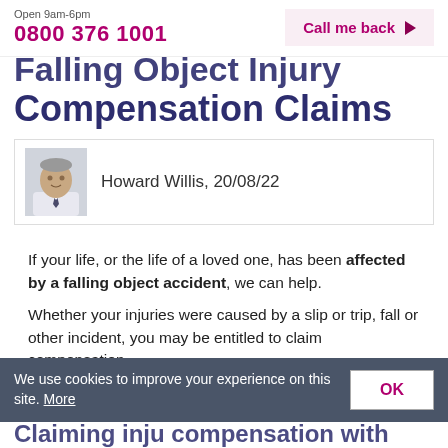Open 9am-6pm 0800 376 1001 | Call me back
Falling Object Injury Compensation Claims
[Figure (photo): Headshot photo of Howard Willis, a middle-aged man in a suit and tie]
Howard Willis, 20/08/22
If your life, or the life of a loved one, has been affected by a falling object accident, we can help.
Whether your injuries were caused by a slip or trip, fall or other incident, you may be entitled to claim compensation.
We use cookies to improve your experience on this site. More
Claiming injury compensation with